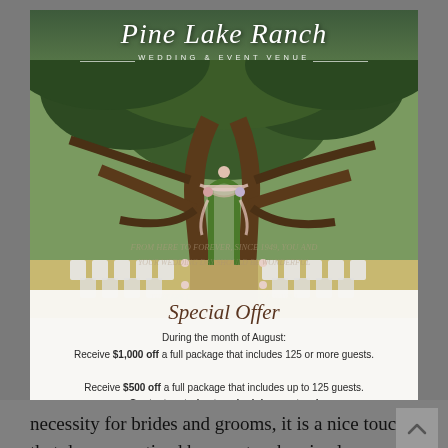Pine Lake Ranch
WEDDING & EVENT VENUE
[Figure (photo): Outdoor wedding ceremony setup under a large oak tree with white chairs arranged in rows, a floral arch/altar decorated with pink draping fabric, green moss, and flowers. Lush green trees visible in background.]
Special Offer
During the month of August:
Receive $1,000 off a full package that includes 125 or more guests.
Receive $500 off a full package that includes up to 125 guests.
Contact us today to schedule your tour!
necessity for brides and grooms, it is a nice touch that does go noticed by guests when in close proximity.